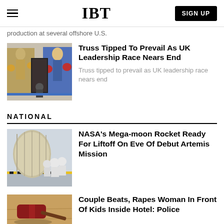IBT | SIGN UP
production at several offshore U.S.
Truss Tipped To Prevail As UK Leadership Race Nears End
Truss tipped to prevail as UK leadership race nears end
NATIONAL
NASA's Mega-moon Rocket Ready For Liftoff On Eve Of Debut Artemis Mission
Couple Beats, Rapes Woman In Front Of Kids Inside Hotel: Police
[Figure (photo): Photo of boxing murals on a building with a person crouching in front]
[Figure (photo): Photo of scientists in white clean-room suits working on NASA equipment]
[Figure (photo): Photo of a red wooden gavel on a table]